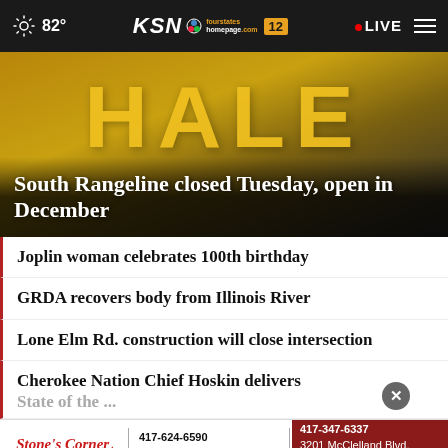82° KSN fourstates homepage .com 12 LIVE
[Figure (photo): Close-up of yellow and black 'HALE' text painted on asphalt road surface]
South Rangeline closed Tuesday, open in December
Joplin woman celebrates 100th birthday
GRDA recovers body from Illinois River
Lone Elm Rd. construction will close intersection
Cherokee Nation Chief Hoskin delivers State of the ...
[Figure (infographic): Stone's Corner Pharmacy advertisement with contact info: 417-624-6590, 6059 N Main St, Webb City, MO; 417-347-6337, 3201 McClelland Blvd, Suite B, Joplin, MO]